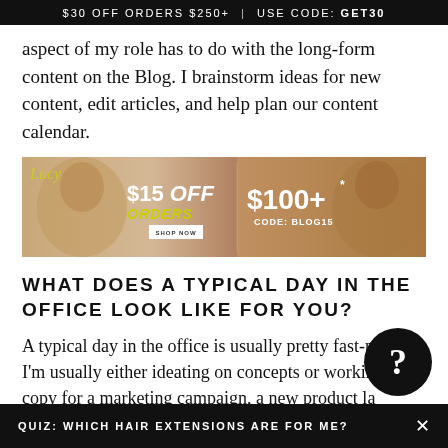$30 OFF ORDERS $250+ | USE CODE: GET30
aspect of my role has to do with the long-form content on the Blog. I brainstorm ideas for new content, edit articles, and help plan our content calendar.
[Figure (infographic): Promotional banner ad: '$15 OFF ORDERS $100+* CODE: BLOG15' on a warm brown/tan background with images of a curly-haired woman on both sides.]
WHAT DOES A TYPICAL DAY IN THE OFFICE LOOK LIKE FOR YOU?
A typical day in the office is usually pretty fast-paced. I'm usually either ideating on concepts or working on copy for a marketing campaign, a new product launch, or the website itself. For the Blog, I'm often combing the internet for inspiration or in meetings with the
QUIZ: WHICH HAIR EXTENSIONS ARE FOR ME?   ×